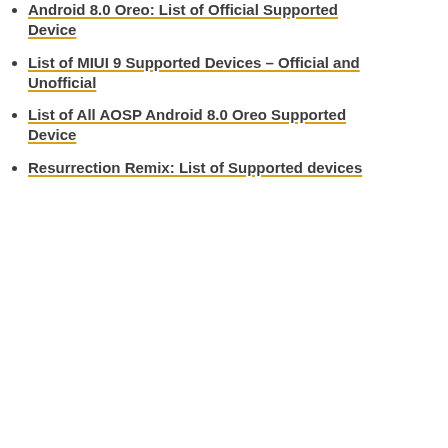Android 8.0 Oreo: List of Official Supported Device
List of MIUI 9 Supported Devices – Official and Unofficial
List of All AOSP Android 8.0 Oreo Supported Device
Resurrection Remix: List of Supported devices